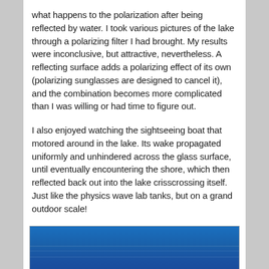what happens to the polarization after being reflected by water. I took various pictures of the lake through a polarizing filter I had brought. My results were inconclusive, but attractive, nevertheless. A reflecting surface adds a polarizing effect of its own (polarizing sunglasses are designed to cancel it), and the combination becomes more complicated than I was willing or had time to figure out.
I also enjoyed watching the sightseeing boat that motored around in the lake. Its wake propagated uniformly and unhindered across the glass surface, until eventually encountering the shore, which then reflected back out into the lake crisscrossing itself. Just like the physics wave lab tanks, but on a grand outdoor scale!
[Figure (photo): A photograph of a blue lake surface, likely taken through a polarizing filter, showing the water with subtle wave patterns and a dark silhouette at the bottom left.]